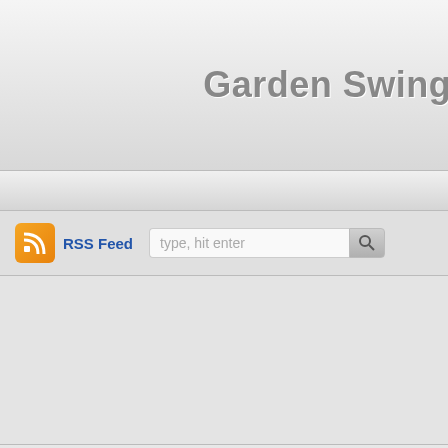Garden Swings
Home
RSS Feed  type, hit enter
[Figure (photo): Wicker patio furniture with beige cushions, eBay product image]
PATIOJOY 2PCS P TABLE BEIGE
Sharing is c
You may also like:
IT TAKES TWO
Log in
© Copyright 2022 Garden Swings
Theme by zwwooooo & schiy
| Powered by WordPress